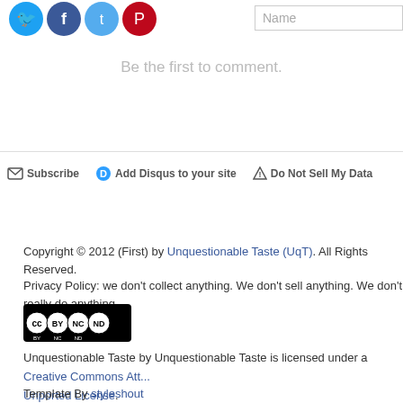[Figure (screenshot): Social media share icons (Twitter/blue bird, Facebook blue, Twitter/light blue, Pinterest red) and a Name input field on the right]
Be the first to comment.
✉ Subscribe   D Add Disqus to your site   ⚠ Do Not Sell My Data
Copyright © 2012 (First) by Unquestionable Taste (UqT). All Rights Reserved.
Privacy Policy: we don't collect anything. We don't sell anything. We don't really do anything.
[Figure (logo): Creative Commons BY NC ND license badge]
Unquestionable Taste by Unquestionable Taste is licensed under a Creative Commons Att... Unported License.
Template By styleshout